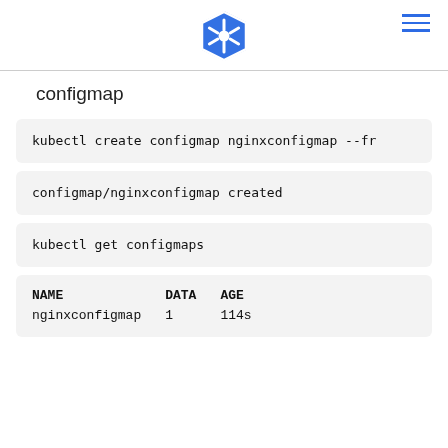Kubernetes logo header with hamburger menu
configmap
kubectl create configmap nginxconfigmap --fr
configmap/nginxconfigmap created
kubectl get configmaps
| NAME | DATA | AGE |
| --- | --- | --- |
| nginxconfigmap | 1 | 114s |